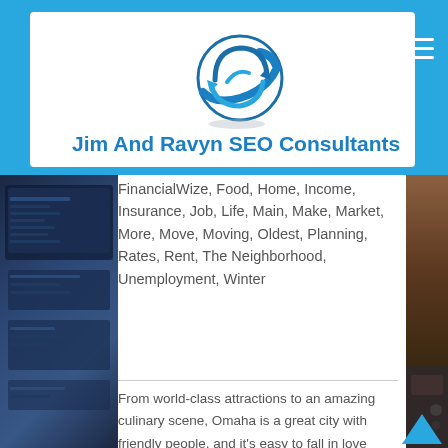Jim And Ravyn SEO Consultants
FinancialWize, Food, Home, Income, Insurance, Job, Life, Main, Make, Market, More, Move, Moving, Oldest, Planning, Rates, Rent, The Neighborhood, Unemployment, Winter
From world-class attractions to an amazing culinary scene, Omaha is a great city with friendly people, and it's easy to fall in love with the Big O!
You may have a preconception about moving to Omaha. But once you're in the city, it